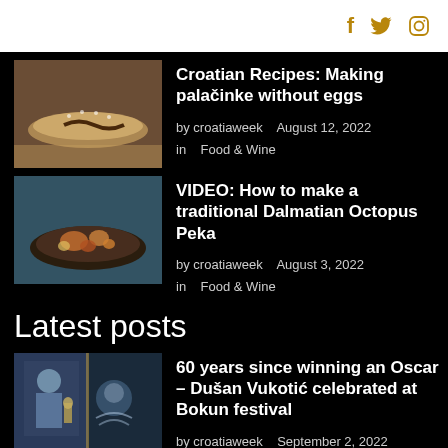social icons: facebook, twitter, instagram
Croatian Recipes: Making palačinke without eggs
by croatiaweek   August 12, 2022
in   Food & Wine
VIDEO: How to make a traditional Dalmatian Octopus Peka
by croatiaweek   August 3, 2022
in   Food & Wine
Latest posts
60 years since winning an Oscar – Dušan Vukotić celebrated at Bokun festival
by croatiaweek   September 2, 2022
in   Entertainment